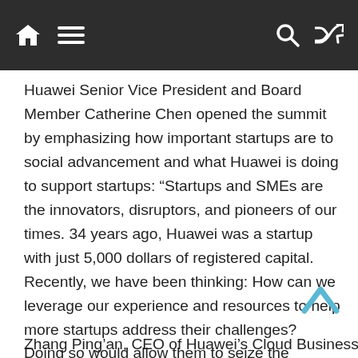Navigation bar with home, menu, search, and shuffle icons
Huawei Senior Vice President and Board Member Catherine Chen opened the summit by emphasizing how important startups are to social advancement and what Huawei is doing to support startups: “Startups and SMEs are the innovators, disruptors, and pioneers of our times. 34 years ago, Huawei was a startup with just 5,000 dollars of registered capital. Recently, we have been thinking: How can we leverage our experience and resources to help more startups address their challenges? Doing so would allow them to seize the opportunities posed by digital transformation, achieve business success, and develop more innovative products and solutions for the world.”
Zhang Ping’an, CEO of Huawei’s Cloud Business Unit